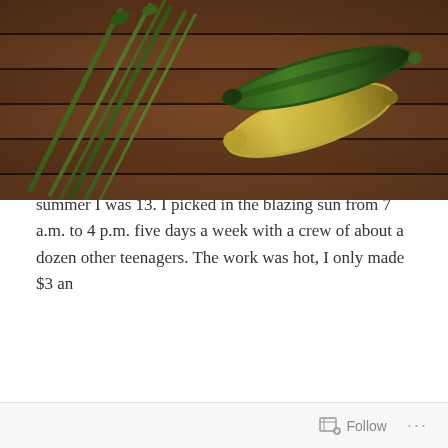[Figure (photo): Photo of vegetables on a dark wooden table: garlic scapes (green stalks), a yellow zucchini, and a green zucchini arranged on slatted dark wood]
Perhaps I was hungry, or just really excited about garlic scape pesto. When I sat down my blog post for Stay Work Play this weekend, I couldn't stop thinking about our Wake Robin Farm CSA.
My first job was on a farm picking strawberries, blueberries and a few other fruits and vegetables the summer I was 13. I picked in the blazing sun from 7 a.m. to 4 p.m. five days a week with a crew of about a dozen other teenagers. The work was hot, I only made $3 an
Follow ···